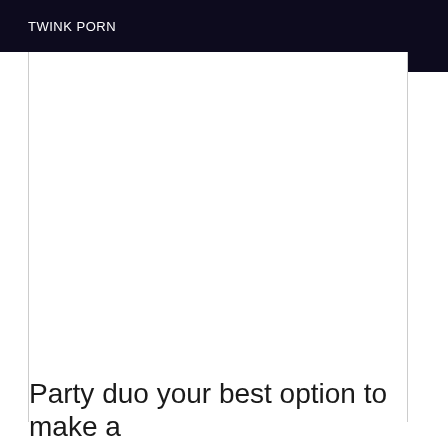TWINK PORN
Party duo your best option to make a